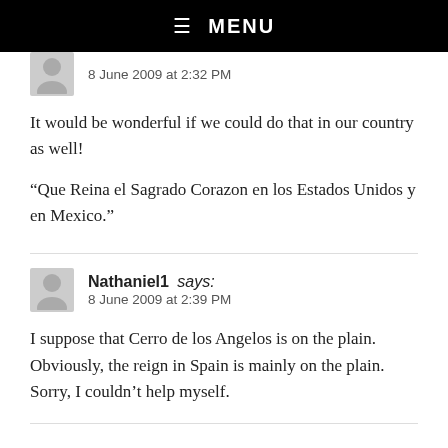☰ MENU
8 June 2009 at 2:32 PM
It would be wonderful if we could do that in our country as well!
“Que Reina el Sagrado Corazon en los Estados Unidos y en Mexico.”
Nathaniel1 says:
8 June 2009 at 2:39 PM
I suppose that Cerro de los Angelos is on the plain. Obviously, the reign in Spain is mainly on the plain. Sorry, I couldn’t help myself.